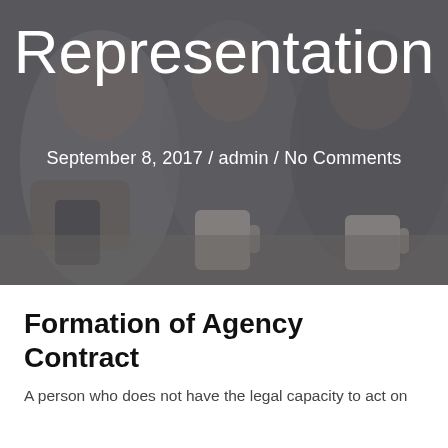[Figure (photo): Dark overlay photo of people sitting at a table, holding phones and coffee cups, in a meeting or consultation setting]
Representation
September 8, 2017 / admin / No Comments
Formation of Agency Contract
A person who does not have the legal capacity to act on